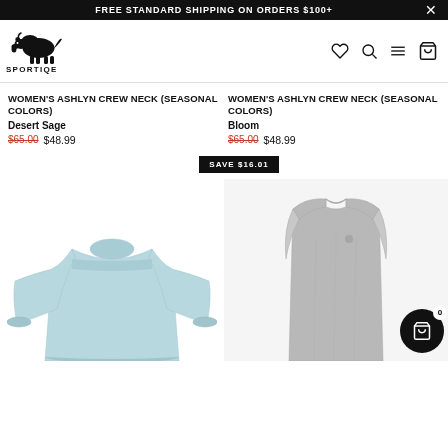FREE STANDARD SHIPPING ON ORDERS $100+
[Figure (logo): Sportiqe logo with bison silhouette and text SPORTIQE]
WOMEN'S ASHLYN CREW NECK (SEASONAL COLORS) Desert Sage $65.00 $48.99
WOMEN'S ASHLYN CREW NECK (SEASONAL COLORS) Bloom $65.00 $48.99
SAVE $16.01
[Figure (photo): Light blue crew neck sweatshirt product photo]
[Figure (photo): Grey tank top product photo with cart icon showing 0 items]